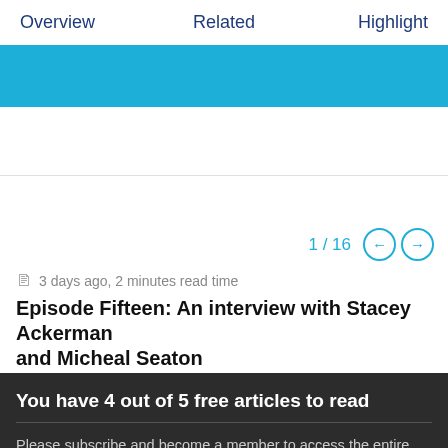Overview   Related   Highlight
[Figure (other): Solid cyan/teal banner image strip]
1 / 16
3 days ago, 2 minutes read time
Episode Fifteen: An interview with Stacey Ackerman and Micheal Seaton
You have 4 out of 5 free articles to read
Please subscribe and become a member to access the entire Business Agility Library without restriction.